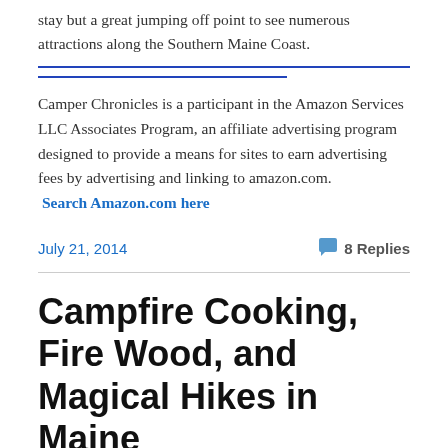stay but a great jumping off point to see numerous attractions along the Southern Maine Coast.
Camper Chronicles is a participant in the Amazon Services LLC Associates Program, an affiliate advertising program designed to provide a means for sites to earn advertising fees by advertising and linking to amazon.com. Search Amazon.com here
July 21, 2014
8 Replies
Campfire Cooking, Fire Wood, and Magical Hikes in Maine